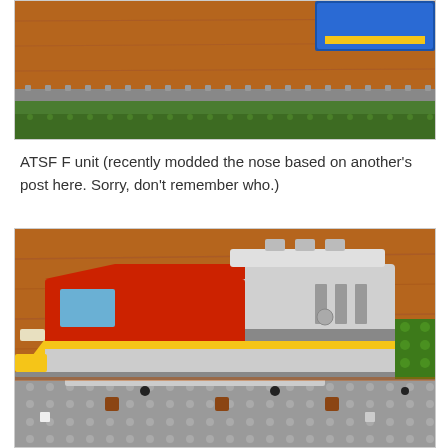[Figure (photo): LEGO train model seen from above on wooden surface with green and grey track pieces]
ATSF F unit (recently modded the nose based on another's post here. Sorry, don't remember who.)
[Figure (photo): LEGO ATSF F unit locomotive model in red, grey, and yellow colors on LEGO track with wooden surface background]